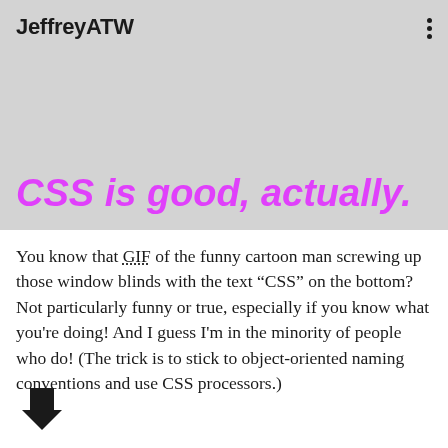JeffreyATW
CSS is good, actually.
You know that GIF of the funny cartoon man screwing up those window blinds with the text “CSS” on the bottom? Not particularly funny or true, especially if you know what you're doing! And I guess I'm in the minority of people who do! (The trick is to stick to object-oriented naming conventions and use CSS processors.)
[Figure (illustration): A down-pointing arrow icon in dark color]